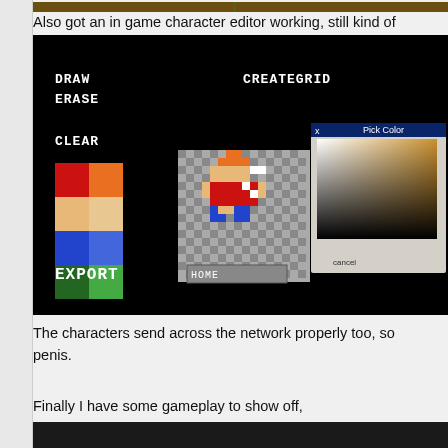[Figure (screenshot): Top strip showing a game screenshot with brown/green colors and green text partially visible]
Also got an in game character editor working, still kind of
[Figure (screenshot): In-game character editor on black background showing DRAW, ERASE, CLEAR, CREATEGRID buttons, a color palette with red/orange/tan/blue/green squares, a pixelated Mario-like character preview, a color picker dialog, and EXPORT with NAME input field]
The characters send across the network properly too, so
penis.
Finally I have some gameplay to show off,
[Figure (screenshot): Bottom dark game screenshot strip]